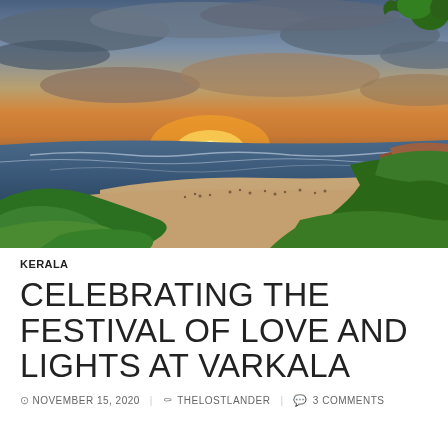[Figure (photo): Aerial/elevated view of Varkala beach at sunset. The scene shows a curved sandy beach with people walking along it, waves breaking on shore, lush green tropical vegetation in the foreground and right side, red/orange cliffs on the right, and a dramatic sunset sky with orange, yellow and blue-grey clouds.]
KERALA
CELEBRATING THE FESTIVAL OF LOVE AND LIGHTS AT VARKALA
NOVEMBER 15, 2020  THELOSTLANDER  3 COMMENTS